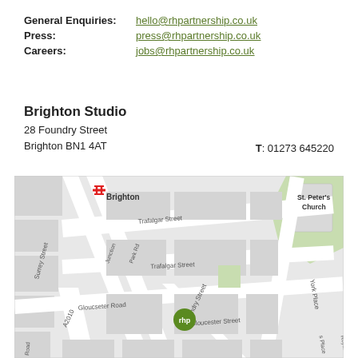General Enquiries: hello@rhpartnership.co.uk
Press: press@rhpartnership.co.uk
Careers: jobs@rhpartnership.co.uk
Brighton Studio
28 Foundry Street
Brighton BN1 4AT
T: 01273 645220
[Figure (map): Street map showing Brighton Studio location at 28 Foundry Street, Brighton BN1 4AT. Shows surrounding streets including Trafalgar Street, Surrey Street, Gloucester Road, Gloucester Street, York Place, and A2010. Brighton train station is visible with rail symbol. St. Peter's Church shown in top right. Green rhp marker pin at Foundry Street location.]